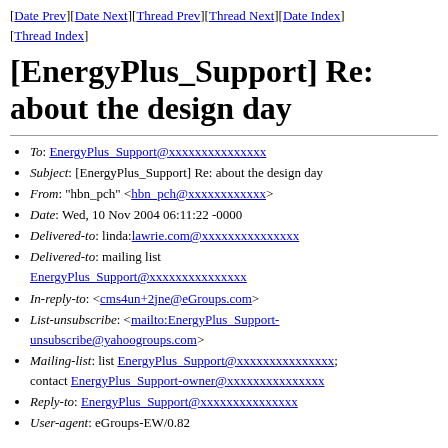[Date Prev][Date Next][Thread Prev][Thread Next][Date Index][Thread Index]
[EnergyPlus_Support] Re: about the design day
To: EnergyPlus_Support@xxxxxxxxxxxxxxx
Subject: [EnergyPlus_Support] Re: about the design day
From: "hbn_pch" <hbn_pch@xxxxxxxxxxxx>
Date: Wed, 10 Nov 2004 06:11:22 -0000
Delivered-to: linda:lawrie.com@xxxxxxxxxxxxxxx
Delivered-to: mailing list EnergyPlus_Support@xxxxxxxxxxxxxxx
In-reply-to: <cms4un+2jne@eGroups.com>
List-unsubscribe: <mailto:EnergyPlus_Support-unsubscribe@yahoogroups.com>
Mailing-list: list EnergyPlus_Support@xxxxxxxxxxxxxxx; contact EnergyPlus_Support-owner@xxxxxxxxxxxxxxx
Reply-to: EnergyPlus_Support@xxxxxxxxxxxxxxx
User-agent: eGroups-EW/0.82